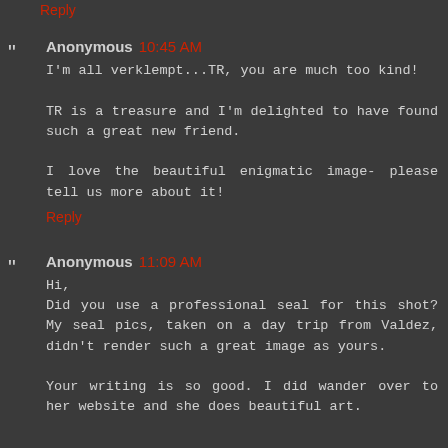Reply
Anonymous 10:45 AM
I'm all verklempt...TR, you are much too kind!

TR is a treasure and I'm delighted to have found such a great new friend.

I love the beautiful enigmatic image- please tell us more about it!
Reply
Anonymous 11:09 AM
Hi,
Did you use a professional seal for this shot? My seal pics, taken on a day trip from Valdez, didn't render such a great image as yours.

Your writing is so good. I did wander over to her website and she does beautiful art.